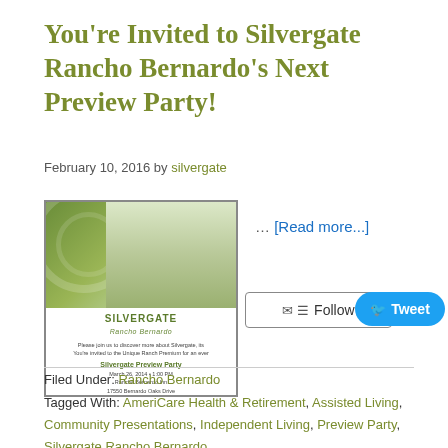You're Invited to Silvergate Rancho Bernardo's Next Preview Party!
February 10, 2016 by silvergate
[Figure (illustration): Silvergate Rancho Bernardo invitation flyer image showing an older couple toasting with wine glasses and the Silvergate Preview Party event details]
… [Read more...]
Follow
Tweet
Filed Under: Rancho Bernardo
Tagged With: AmeriCare Health & Retirement, Assisted Living, Community Presentations, Independent Living, Preview Party, Silvergate Rancho Bernardo